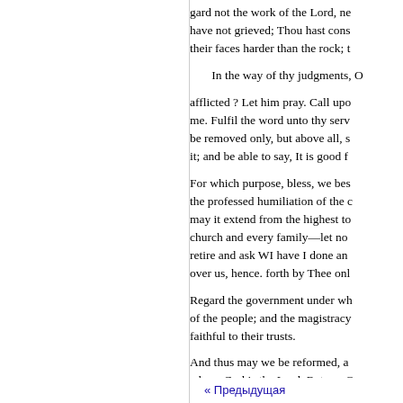gard not the work of the Lord, ne have not grieved; Thou hast cons their faces harder than the rock; t
In the way of thy judgments, O
afflicted ? Let him pray. Call upo me. Fulfil the word unto thy serv be removed only, but above all, s it; and be able to say, It is good f
For which purpose, bless, we bes the professed humiliation of the  may it extend from the highest to church and every family—let no retire and ask WI have I done an over us, hence. forth by Thee onl
Regard the government under wh of the people; and the magistracy faithful to their trusts.
And thus may we be reformed, a whose God is the Lord. Return, O us early with thy mercy, that we
« Предыдущая